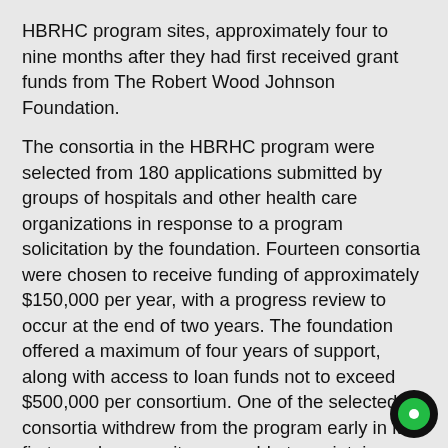HBRHC program sites, approximately four to nine months after they had first received grant funds from The Robert Wood Johnson Foundation.
The consortia in the HBRHC program were selected from 180 applications submitted by groups of hospitals and other health care organizations in response to a program solicitation by the foundation. Fourteen consortia were chosen to receive funding of approximately $150,000 per year, with a progress review to occur at the end of two years. The foundation offered a maximum of four years of support, along with access to loan funds not to exceed $500,000 per consortium. One of the selected consortia withdrew from the program early in its first year because it was unable to maintain support among its member hospitals for its only proposed program—a rural health maintenance organization (HMO).Funding Of Healthcare/ Reimbursement Issues Essay Paper.